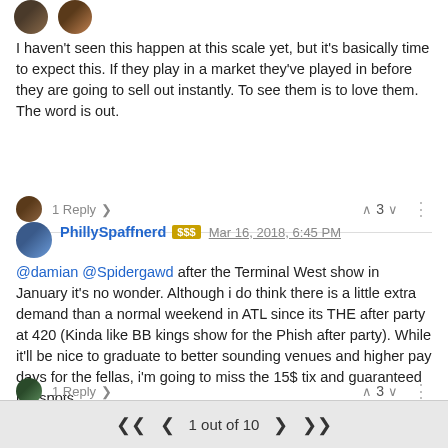[Figure (photo): Two small avatar profile images at the top of the comment thread]
I haven't seen this happen at this scale yet, but it's basically time to expect this. If they play in a market they've played in before they are going to sell out instantly. To see them is to love them. The word is out.
1 Reply >   ^ 3 v   ...
[Figure (photo): Avatar for PhillySpaffnerd user]
PhillySpaffnerd [$$$] Mar 16, 2018, 6:45 PM
@damian @Spidergawd after the Terminal West show in January it's no wonder. Although i do think there is a little extra demand than a normal weekend in ATL since its THE after party at 420 (Kinda like BB kings show for the Phish after party). While it'll be nice to graduate to better sounding venues and higher pay days for the fellas, i'm going to miss the 15$ tix and guaranteed rail spots...
1 Reply >   ^ 3 v   ...
1 out of 10